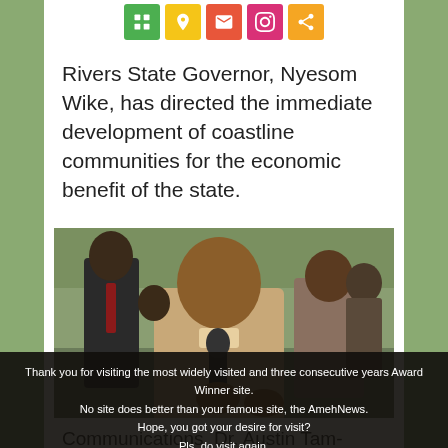[Figure (illustration): Row of social media icon buttons: green share icon, yellow location/pin icon, red-orange envelope icon, pink/red Instagram icon, orange forward/share icon]
Rivers State Governor, Nyesom Wike, has directed the immediate development of coastline communities for the economic benefit of the state.
[Figure (photo): Photograph of a man speaking into a microphone at an outdoor public gathering, with other people visible in the background including a man in a suit and tie]
Thank you for visiting the most widely visited and three consecutive years Award Winner site. No site does better than your famous site, the AmehNews. Hope, you got your desire for visit? Pls, do visit again.
Communications, Dr. Austin Tam-